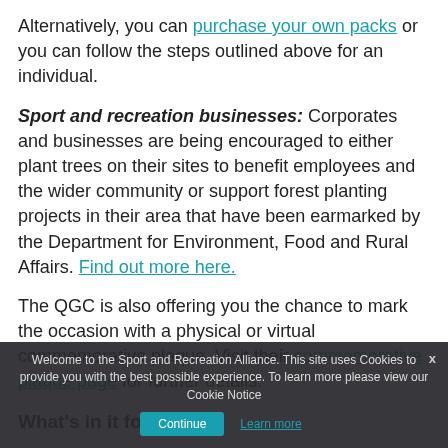Alternatively, you can purchase your own packs or you can follow the steps outlined above for an individual.
Sport and recreation businesses: Corporates and businesses are being encouraged to either plant trees on their sites to benefit employees and the wider community or support forest planting projects in their area that have been earmarked by the Department for Environment, Food and Rural Affairs. Find out more here.
The QGC is also offering you the chance to mark the occasion with a physical or virtual commemorative plaque. Visit their commemorative plaque page for further details.
What's in it for you?
Every Alliance member that plants a tree as part of the campaign will feature on a special page on our website to show thanks to the Queen for her 70 years of service, from the sport and recreation sector. To feature on our website, simply let us know of your involvement via the button below.